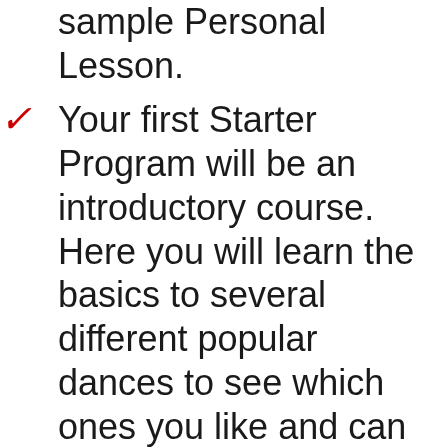sample Personal Lesson.
Your first Starter Program will be an introductory course. Here you will learn the basics to several different popular dances to see which ones you like and can learn the quickest and easiest.
Your Instructor will explain the Medal Standards — Bronze, Silver, Gold, and Gold Bar — that are taught and will plan a